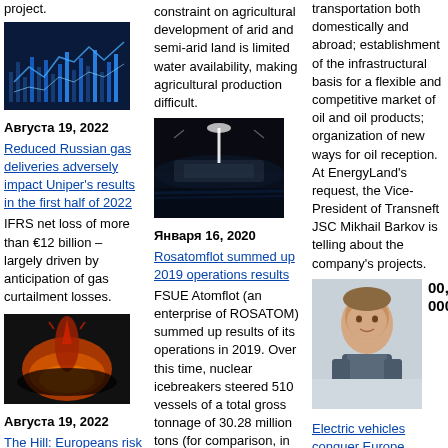project.
[Figure (photo): Blue digital finance/stock market visualization with charts and data]
Августа 19, 2022
Reduced Russian gas deliveries adversely impact Uniper's results in the first half of 2022
IFRS net loss of more than €12 billion – largely driven by anticipation of gas curtailment losses.
[Figure (photo): German eagle/flame illustration]
Августа 19, 2022
The Hill: Europeans risk death by cold for green folly
constraint on agricultural development of arid and semi-arid land is limited water availability, making agricultural production difficult.
[Figure (photo): Night ship/tanker photograph]
Января 16, 2020
Rosatomflot summed up 2019 operations results
FSUE Atomflot (an enterprise of ROSATOM) summed up results of its operations in 2019. Over this time, nuclear icebreakers steered 510 vessels of a total gross tonnage of 30.28 million tons (for comparison, in 2018, 331 vessels of a total gross tonnage of 12.7
transportation both domestically and abroad; establishment of the infrastructural basis for a flexible and competitive market of oil and oil products; organization of new ways for oil reception. At EnergyLand's request, the Vice-President of Transneft JSC Mikhail Barkov is telling about the company's projects.
[Figure (photo): Portrait of a man in suit, smiling]
00, 0000
Electric vehicles conquer Europe
Phil Dingle, head of Eaton Power Utilities and Networks, shared his views on the